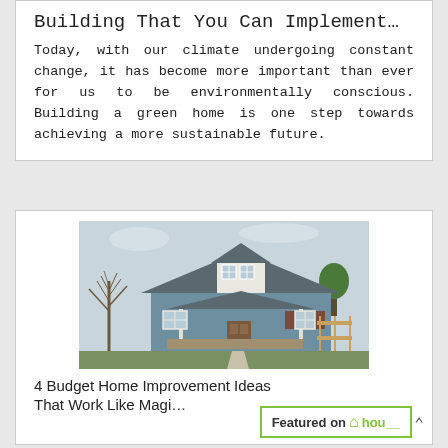Building That You Can Implement...
Today, with our climate undergoing constant change, it has become more important than ever for us to be environmentally conscious. Building a green home is one step towards achieving a more sustainable future.
[Figure (photo): Exterior photo of a blue single-story house with a front porch, bare trees on the left, green lawn, and a wooden fence on the right side.]
4 Budget Home Improvement Ideas That Work Like Magi...
[Figure (logo): Featured on Houzz badge with green border, showing 'Featured on h hou__' with Houzz logo icon in green.]